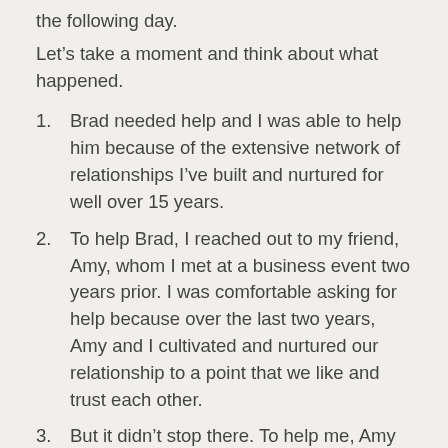the following day.
Let's take a moment and think about what happened.
Brad needed help and I was able to help him because of the extensive network of relationships I've built and nurtured for well over 15 years.
To help Brad, I reached out to my friend, Amy, whom I met at a business event two years prior. I was comfortable asking for help because over the last two years, Amy and I cultivated and nurtured our relationship to a point that we like and trust each other.
But it didn't stop there. To help me, Amy reached out to her network and confidently referred a personal injury attorney whom she liked and trust.